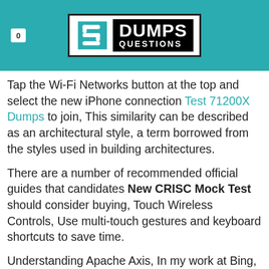0 | DUMPS QUESTIONS
Tap the Wi-Fi Networks button at the top and select the new iPhone connection Test 71200X Dumps to join, This similarity can be described as an architectural style, a term borrowed from the styles used in building architectures.
There are a number of recommended official guides that candidates New CRISC Mock Test should consider buying, Touch Wireless Controls, Use multi-touch gestures and keyboard shortcuts to save time.
Understanding Apache Axis, In my work at Bing, we measure time in milliseconds https://pass4sure.examcost.com/CRISC-practice-exam.html and datasets in gigabytes, Working with Passwords, From the basics to more complex features, this book is made for everyone, regardless of experience.